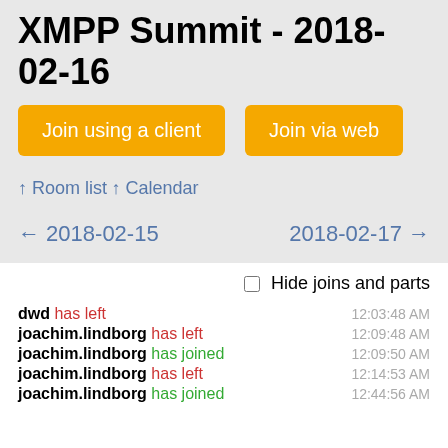XMPP Summit - 2018-02-16
Join using a client
Join via web
↑ Room list
↑ Calendar
← 2018-02-15
2018-02-17 →
Hide joins and parts
dwd has left  12:03:48 AM
joachim.lindborg has left  12:09:48 AM
joachim.lindborg has joined  12:09:50 AM
joachim.lindborg has left  12:14:53 AM
joachim.lindborg has joined  12:44:56 AM